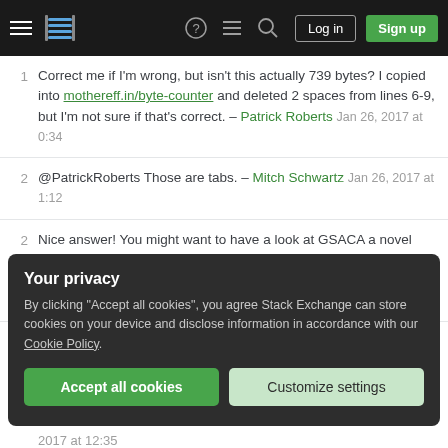Stack Exchange navigation bar with hamburger menu, logo, help, chat, search icons, Log in and Sign up buttons
1 Correct me if I'm wrong, but isn't this actually 739 bytes? I copied into mothereff.in/byte-counter and deleted 2 spaces from lines 6-9, but I'm not sure if that's correct. – Patrick Roberts Jan 26, 2017 at 0:34
2 @PatrickRoberts Those are tabs. – Mitch Schwartz Jan 26, 2017 at 1:12
2 Nice answer! You might want to have a look at GSACA a novel linear time SACA from 2016. Reference implementation is 246 lines full of comments (170 without comments) and seems very golfable. You'll find it on github. – Christoph Feb 1, 2017 at 9:15
Your privacy
By clicking "Accept all cookies", you agree Stack Exchange can store cookies on your device and disclose information in accordance with our Cookie Policy.
2017 at 12:35